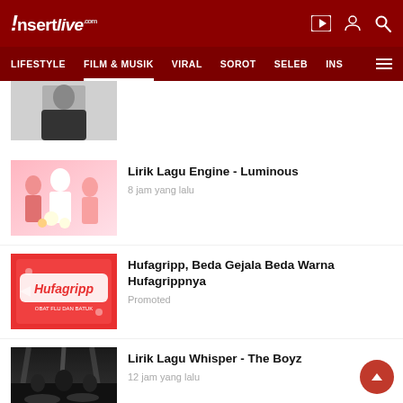Insertlive
[Figure (screenshot): Partial article thumbnail showing a person in dark outfit]
Lirik Lagu Engine - Luminous
8 jam yang lalu
[Figure (photo): Hufagripp advertisement - colorful logo on red background]
Hufagripp, Beda Gejala Beda Warna Hufagrippnya
Promoted
Lirik Lagu Whisper - The Boyz
12 jam yang lalu